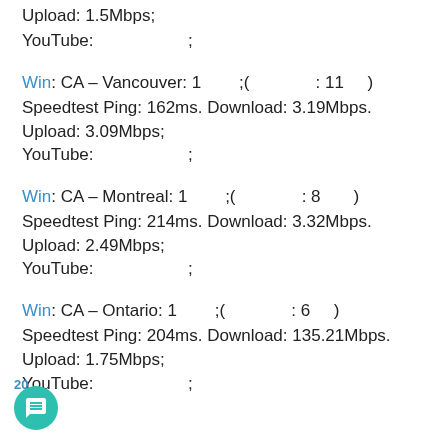Upload: 1.5Mbps;
YouTube:                    ;
Win: CA – Vancouver: 1        ; (              : 11      )
Speedtest Ping: 162ms. Download: 3.19Mbps. Upload: 3.09Mbps;
YouTube:                    ;
Win: CA – Montreal: 1        ; (              : 8        )
Speedtest Ping: 214ms. Download: 3.32Mbps. Upload: 2.49Mbps;
YouTube:                    ;
Win: CA – Ontario: 1        ; (              : 6      )
Speedtest Ping: 204ms. Download: 135.21Mbps. Upload: 1.75Mbps;
YouTube:        ;